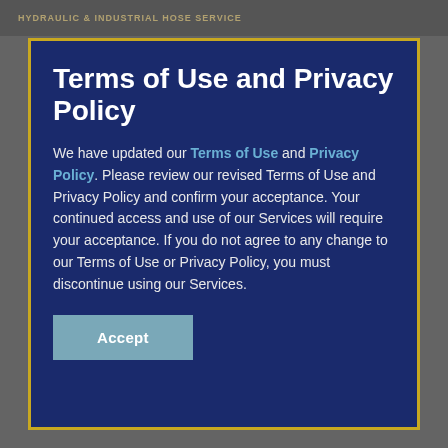HYDRAULIC & INDUSTRIAL HOSE SERVICE
Terms of Use and Privacy Policy
We have updated our Terms of Use and Privacy Policy. Please review our revised Terms of Use and Privacy Policy and confirm your acceptance. Your continued access and use of our Services will require your acceptance. If you do not agree to any change to our Terms of Use or Privacy Policy, you must discontinue using our Services.
Accept